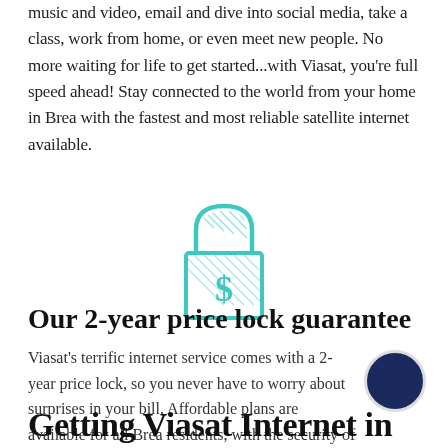music and video, email and dive into social media, take a class, work from home, or even meet new people. No more waiting for life to get started...with Viasat, you're full speed ahead! Stay connected to the world from your home in Brea with the fastest and most reliable satellite internet available.
[Figure (illustration): Padlock icon with dollar sign, drawn in teal/turquoise outline style with diagonal hatching fill]
Our 2-year price lock guarantee
Viasat's terrific internet service comes with a 2-year price lock, so you never have to worry about surprises in your bill. Affordable plans are available for all Brea residents, with the security of knowing your bill won't change for two years.
Getting Viasat Internet in Brea